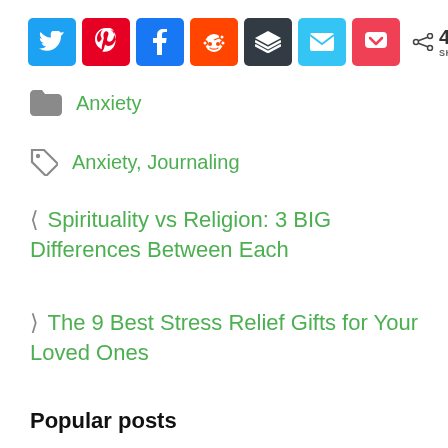[Figure (infographic): Social media share buttons row: Twitter (blue), Pinterest (red), Facebook (blue), Reddit (orange-red), Buffer/layers (dark), Email (light blue), Pocket (pink-red), followed by share icon and count: 468 SHARES]
Anxiety
Anxiety, Journaling
< Spirituality vs Religion: 3 BIG Differences Between Each
> The 9 Best Stress Relief Gifts for Your Loved Ones
Popular posts